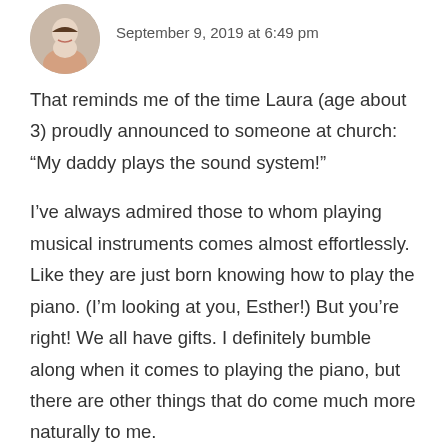[Figure (photo): Circular avatar photo of a woman with dark hair, smiling]
September 9, 2019 at 6:49 pm
That reminds me of the time Laura (age about 3) proudly announced to someone at church: “My daddy plays the sound system!”
I’ve always admired those to whom playing musical instruments comes almost effortlessly. Like they are just born knowing how to play the piano. (I’m looking at you, Esther!) But you’re right! We all have gifts. I definitely bumble along when it comes to playing the piano, but there are other things that do come much more naturally to me.
This is a good reminder to not compare my areas of